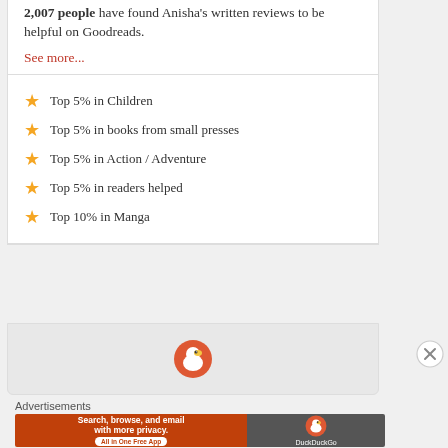2,007 people have found Anisha's written reviews to be helpful on Goodreads.
See more...
Top 5% in Children
Top 5% in books from small presses
Top 5% in Action / Adventure
Top 5% in readers helped
Top 10% in Manga
[Figure (logo): DuckDuckGo icon in a circle]
[Figure (other): Close/X button circle]
Advertisements
[Figure (screenshot): DuckDuckGo advertisement banner: Search, browse, and email with more privacy. All in One Free App]